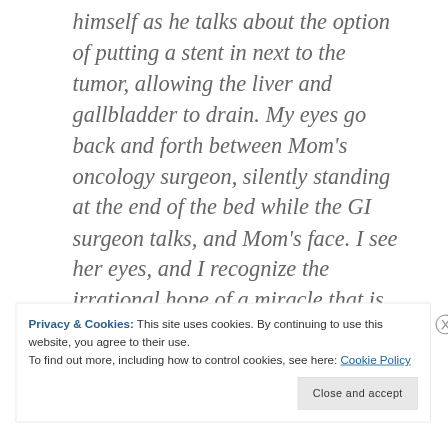himself as he talks about the option of putting a stent in next to the tumor, allowing the liver and gallbladder to drain. My eyes go back and forth between Mom's oncology surgeon, silently standing at the end of the bed while the GI surgeon talks, and Mom's face. I see her eyes, and I recognize the irrational hope of a miracle that is building in her heart.
Privacy & Cookies: This site uses cookies. By continuing to use this website, you agree to their use.
To find out more, including how to control cookies, see here: Cookie Policy